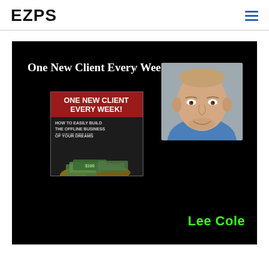EZPS
[Figure (screenshot): Video thumbnail on black background showing 'One New Client Every Week!' title text in white bold serif font, a book cover with red and dark sections reading 'ONE NEW CLIENT EVERY WEEK! HOW TO EASILY BUILD THE OFFLINE BUSINESS OF YOUR DREAMS' with hands holding money, a photo of a middle-aged bald man named Lee Cole in a blue shirt, and the name 'Lee Cole' in green bold text.]